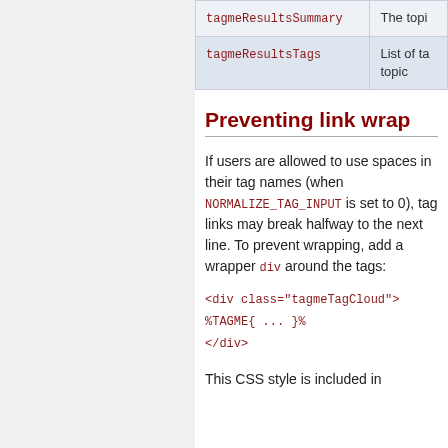| Field | Description |
| --- | --- |
| tagmeResultsSummary | The topi… |
| tagmeResultsTags | List of ta… topic |
Preventing link wrap
If users are allowed to use spaces in their tag names (when NORMALIZE_TAG_INPUT is set to 0), tag links may break halfway to the next line. To prevent wrapping, add a wrapper div around the tags:
<div class="tagmeTagCloud">
%TAGME{ ... }%
</div>
This CSS style is included in